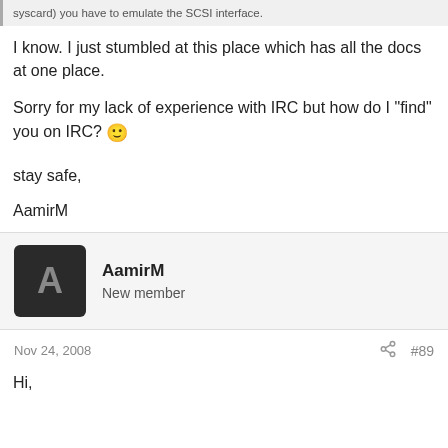syscard) you have to emulate the SCSI interface.
I know. I just stumbled at this place which has all the docs at one place.
Sorry for my lack of experience with IRC but how do I "find" you on IRC? 🙂
stay safe,
AamirM
AamirM
New member
Nov 24, 2008
#89
Hi,